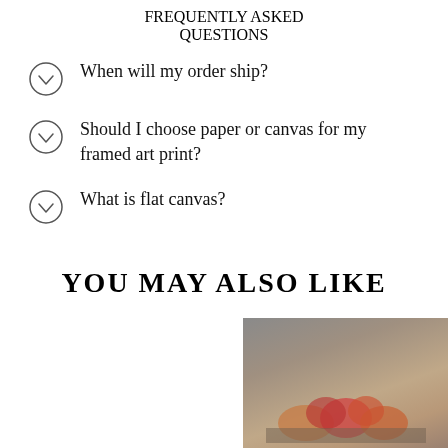FREQUENTLY ASKED QUESTIONS
When will my order ship?
Should I choose paper or canvas for my framed art print?
What is flat canvas?
YOU MAY ALSO LIKE
[Figure (photo): Partial view of a framed art print showing fruit, visible in the bottom-right corner of the page.]